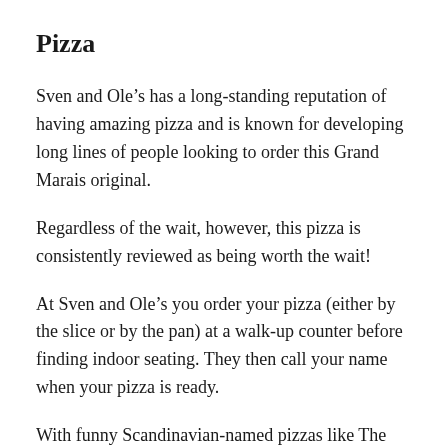Pizza
Sven and Ole’s has a long-standing reputation of having amazing pizza and is known for developing long lines of people looking to order this Grand Marais original.
Regardless of the wait, however, this pizza is consistently reviewed as being worth the wait!
At Sven and Ole’s you order your pizza (either by the slice or by the pan) at a walk-up counter before finding indoor seating. They then call your name when your pizza is ready.
With funny Scandinavian-named pizzas like The Uffdå Zeb, The Herrijin Zeb, and The Vikl…